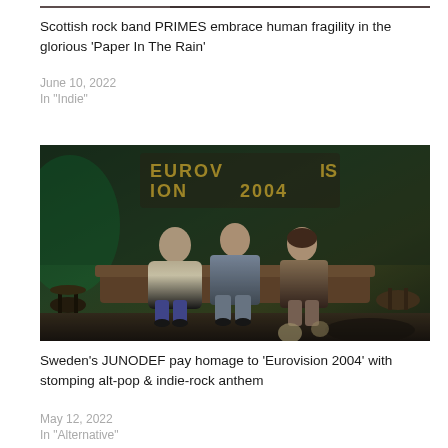[Figure (photo): Partial photo of Scottish rock band PRIMES, cropped at top of page, showing band members]
Scottish rock band PRIMES embrace human fragility in the glorious ‘Paper In The Rain’
June 10, 2022
In "Indie"
[Figure (photo): Three people (Sweden's JUNODEF) sitting on a couch in front of gold balloon letters spelling 'EUROVISION 2004' in a green-lit room]
Sweden’s JUNODEF pay homage to ‘Eurovision 2004’ with stomping alt-pop & indie-rock anthem
May 12, 2022
In "Alternative"